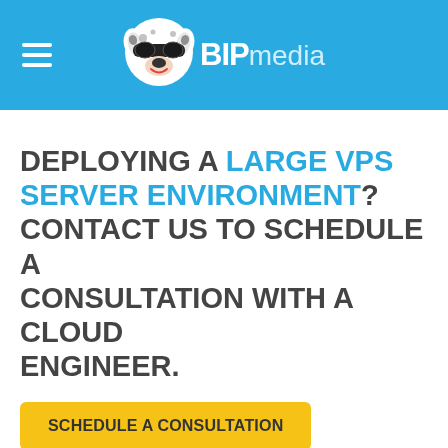BIPmedia
DEPLOYING A LARGE VPS SERVER ENVIRONMENT? CONTACT US TO SCHEDULE A CONSULTATION WITH A CLOUD ENGINEER.
SCHEDULE A CONSULTATION
* While quantities last. No commitment required. Can not be combined with other special offers, promotions or discounts. Not applicable to reseller partner discount. Server configuration must be purchased as